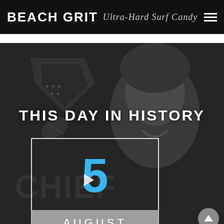BEACH GRIT Ultra-Hard Surf Candy
[Figure (photo): Grayscale background photo of a smiling woman with NFL/Chiefs logo imagery overlaid, with 'THIS DAY IN HISTORY' text and a date box showing '5 AUGUST' with a play icon]
THIS DAY IN HISTORY
5
AUGUST